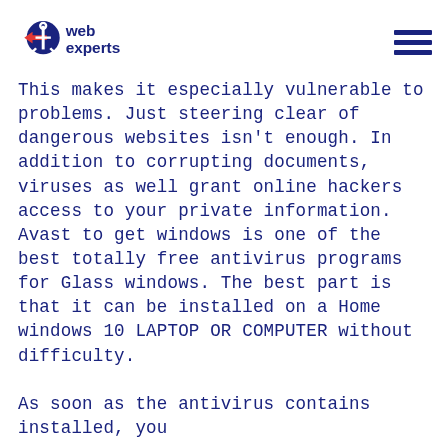web experts
This makes it especially vulnerable to problems. Just steering clear of dangerous websites isn't enough. In addition to corrupting documents, viruses as well grant online hackers access to your private information. Avast to get windows is one of the best totally free antivirus programs for Glass windows. The best part is that it can be installed on a Home windows 10 LAPTOP OR COMPUTER without difficulty.

As soon as the antivirus contains installed, you
Cookie
This website uses cookies. By using and further navigating this website you accept this.
Close